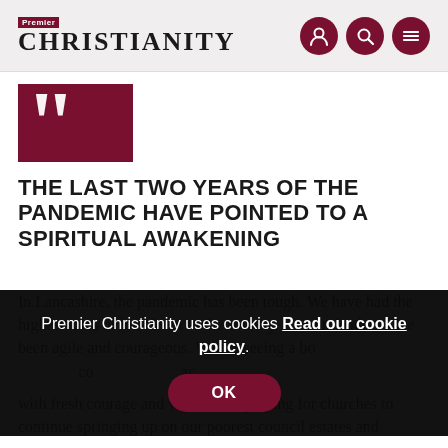Premier Christianity
[Figure (other): Large dark red opening quote mark graphic]
THE LAST TWO YEARS OF THE PANDEMIC HAVE POINTED TO A SPIRITUAL AWAKENING
In Lancashire, the pandemic has been tough. We have had the highest rates of lockdown in the country. But our leaders have been agile and courageous. We are seeing a bo[dy of] co[nfident] ac[tive leaders]...es.
In [Lancashire from] pr[aying...] with fresh courage and verve. I am praying for churches to continue springing up on our poorest council estates and
Premier Christianity uses cookies Read our cookie policy.
OK